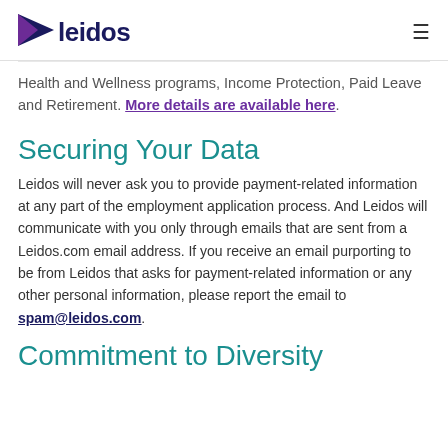Leidos (logo)
Health and Wellness programs, Income Protection, Paid Leave and Retirement. More details are available here.
Securing Your Data
Leidos will never ask you to provide payment-related information at any part of the employment application process. And Leidos will communicate with you only through emails that are sent from a Leidos.com email address. If you receive an email purporting to be from Leidos that asks for payment-related information or any other personal information, please report the email to spam@leidos.com.
Commitment to Diversity